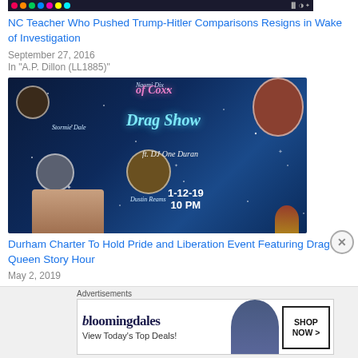[Figure (screenshot): Top bar screenshot showing browser/system icons]
NC Teacher Who Pushed Trump-Hitler Comparisons Resigns in Wake of Investigation
September 27, 2016
In "A.P. Dillon (LL1885)"
[Figure (photo): Drag show promotional image featuring performers Naomi Dix, Stormie Dale, G-Clef, Dustin Reams with text 'of Coxx Drag Show ft. DJ One Duran 1-12-19 10 PM' on dark blue starry background]
Durham Charter To Hold Pride and Liberation Event Featuring Drag Queen Story Hour
May 2, 2019
Advertisements
[Figure (screenshot): Bloomingdales advertisement banner: 'bloomingdales View Today's Top Deals! SHOP NOW >']